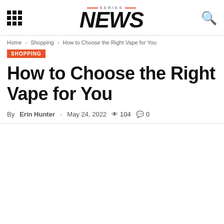Series NEWS
Home › Shopping › How to Choose the Right Vape for You
SHOPPING
How to Choose the Right Vape for You
By Erin Hunter - May 24, 2022  104  0